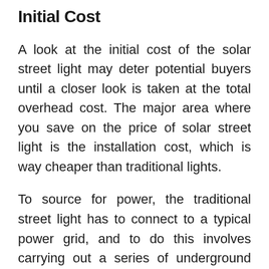Initial Cost
A look at the initial cost of the solar street light may deter potential buyers until a closer look is taken at the total overhead cost. The major area where you save on the price of solar street light is the installation cost, which is way cheaper than traditional lights.
To source for power, the traditional street light has to connect to a typical power grid, and to do this involves carrying out a series of underground wiring and trenching. Carry out the calculations of the labor cost associated with these exercises will require you pay around $120 for each linear foot. When you sum up the total cost of installation, you will come close to $4500